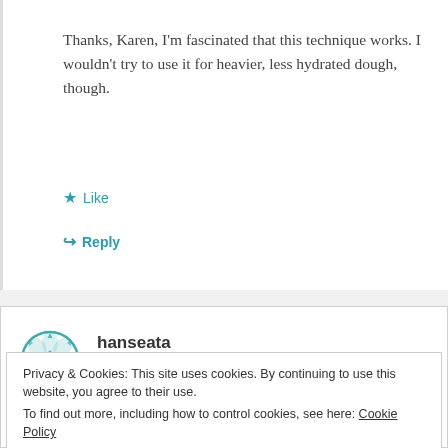Thanks, Karen, I'm fascinated that this technique works. I wouldn't try to use it for heavier, less hydrated dough, though.
Like
Reply
[Figure (illustration): Teal geometric circular avatar/icon with diamond and petal shapes]
hanseata
January 20, 2014 at 1:11 am
Privacy & Cookies: This site uses cookies. By continuing to use this website, you agree to their use.
To find out more, including how to control cookies, see here: Cookie Policy
Close and accept